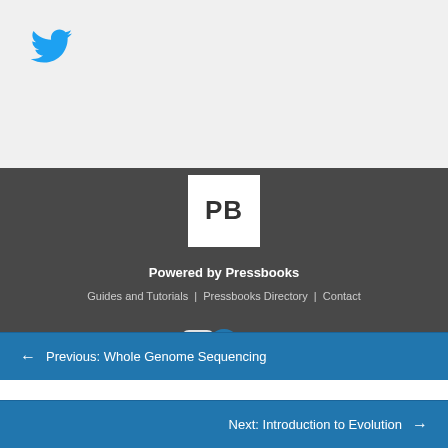[Figure (logo): Twitter bird logo in blue, top-left corner of light gray section]
[Figure (logo): Pressbooks logo: white square with bold PB text in dark gray]
Powered by Pressbooks
Guides and Tutorials | Pressbooks Directory | Contact
[Figure (other): Social media icons row: YouTube play button, blue upload/arrow circle, Twitter bird]
← Previous: Whole Genome Sequencing
Next: Introduction to Evolution →